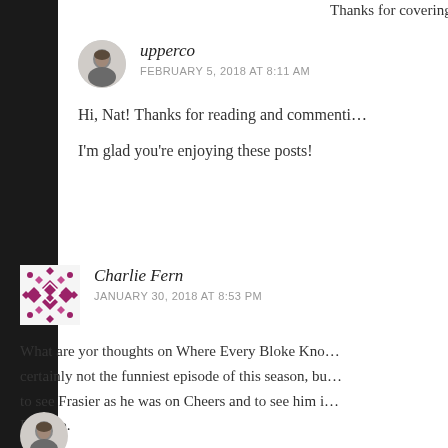Thanks for covering this series so smartly.
upperco
FEBRUARY 5, 2018 AT 8:11 AM
Hi, Nat! Thanks for reading and commenting!
I’m glad you’re enjoying these posts!
Charlie Fern
JANUARY 30, 2018 AT 8:53 PM
What are yor thoughts on Where Every Bloke Kno... certainly not the funniest episode of this season, bu... to see Frasier as he was on Cheers and to see him i... Daphne.